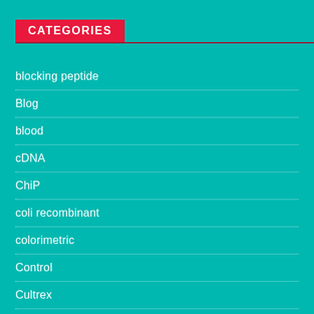CATEGORIES
blocking peptide
Blog
blood
cDNA
ChiP
coli recombinant
colorimetric
Control
Cultrex
Dot
EIA
electrophoresis